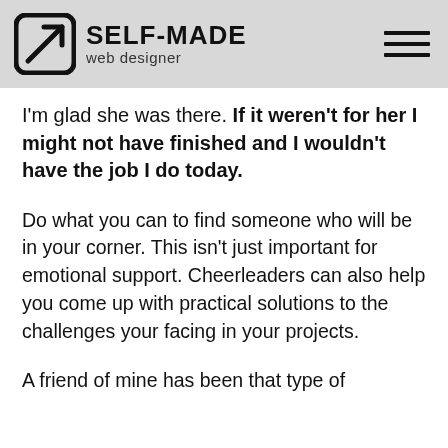SELF-MADE web designer
I'm glad she was there. If it weren't for her I might not have finished and I wouldn't have the job I do today.
Do what you can to find someone who will be in your corner. This isn't just important for emotional support. Cheerleaders can also help you come up with practical solutions to the challenges your facing in your projects.
A friend of mine has been that type of